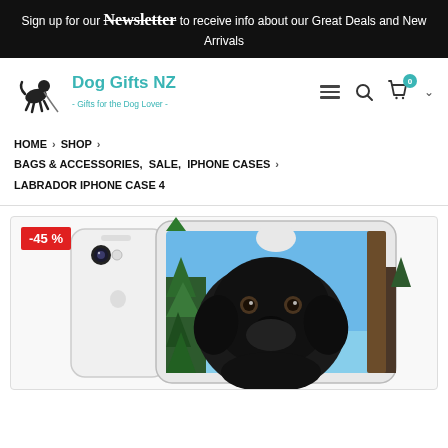Sign up for our Newsletter to receive info about our Great Deals and New Arrivals
[Figure (logo): Dog Gifts NZ logo with dog illustration and tagline 'Gifts for the Dog Lover']
HOME > SHOP > BAGS & ACCESSORIES, SALE, IPHONE CASES > LABRADOR IPHONE CASE 4
[Figure (photo): Labrador iPhone Case 4 product photo showing two iPhone 4 cases - one white showing back with camera, one with black labrador dog art design with trees and blue sky background. Red badge showing -45%]